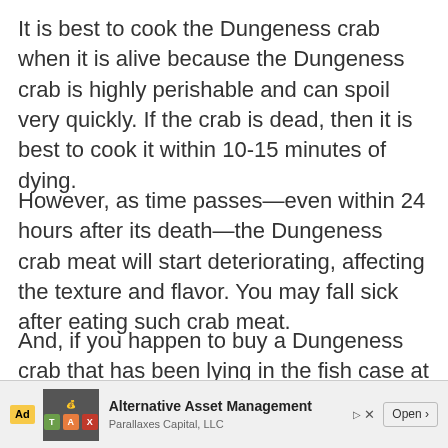It is best to cook the Dungeness crab when it is alive because the Dungeness crab is highly perishable and can spoil very quickly. If the crab is dead, then it is best to cook it within 10-15 minutes of dying.
However, as time passes—even within 24 hours after its death—the Dungeness crab meat will start deteriorating, affecting the texture and flavor. You may fall sick after eating such crab meat.
And, if you happen to buy a Dungeness crab that has been lying in the fish case at the store for some time, then it is best to cook it right away...
[Figure (other): Advertisement banner: Ad label, TAX tiles image, Alternative Asset Management by Parallaxes Capital LLC with Open button and close X]